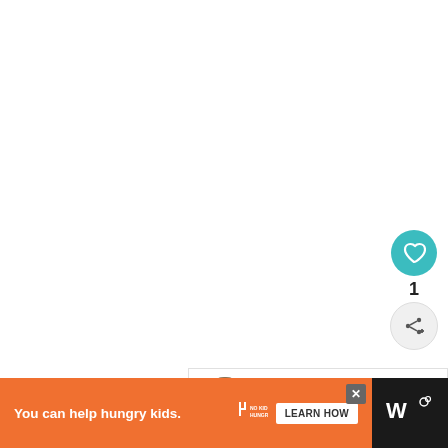[Figure (screenshot): White blank main content area of a web page]
[Figure (infographic): UI sidebar with teal heart/like button showing 1 like, and a light gray share button with share+add icon]
[Figure (infographic): What's Next box with circular food/cookbook thumbnail image and text 'WHAT'S NEXT → FutureChefs Cookbook']
[Figure (infographic): Orange advertisement banner at bottom: 'You can help hungry kids.' with No Kid Hungry logo and LEARN HOW button, close X button, and Wm logo on black right section]